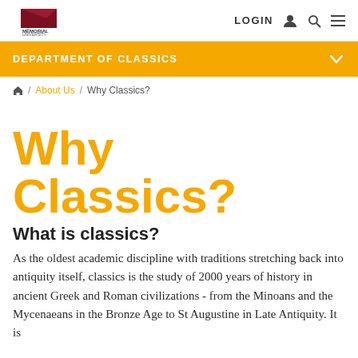Memorial University — LOGIN
DEPARTMENT OF CLASSICS
🏠 / About Us / Why Classics?
Why Classics?
What is classics?
As the oldest academic discipline with traditions stretching back into antiquity itself, classics is the study of 2000 years of history in ancient Greek and Roman civilizations - from the Minoans and the Mycenaeans in the Bronze Age to St Augustine in Late Antiquity. It is